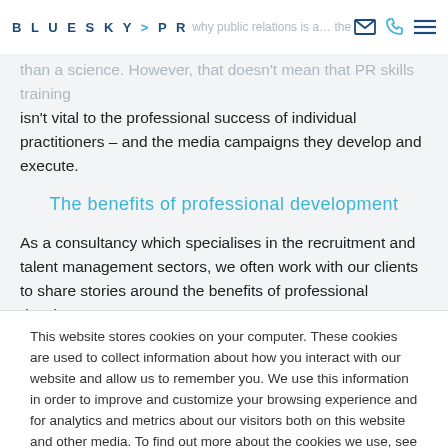BLUESKY > PR
why public relations is a… the… than a science. However, that doesn't mean that PR skills training isn't vital to the professional success of individual practitioners – and the media campaigns they develop and execute.
The benefits of professional development
As a consultancy which specialises in the recruitment and talent management sectors, we often work with our clients to share stories around the benefits of professional development.
This website stores cookies on your computer. These cookies are used to collect information about how you interact with our website and allow us to remember you. We use this information in order to improve and customize your browsing experience and for analytics and metrics about our visitors both on this website and other media. To find out more about the cookies we use, see our Privacy Policy.
Accept